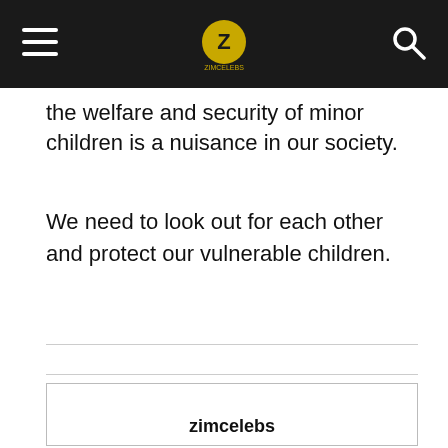zimcelebs (logo/header bar)
the welfare and security of minor children is a nuisance in our society.
We need to look out for each other and protect our vulnerable children.
[Figure (other): Advertisement box with zimcelebs branding text at bottom]